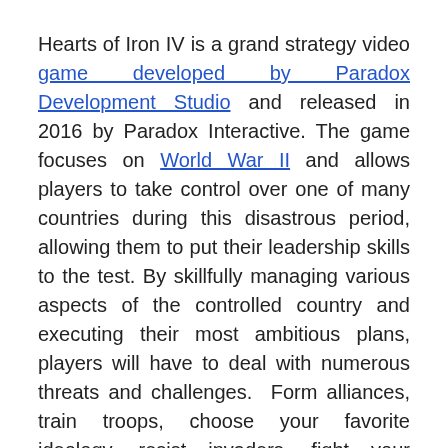Hearts of Iron IV is a grand strategy video game developed by Paradox Development Studio and released in 2016 by Paradox Interactive. The game focuses on World War II and allows players to take control over one of many countries during this disastrous period, allowing them to put their leadership skills to the test. By skillfully managing various aspects of the controlled country and executing their most ambitious plans, players will have to deal with numerous threats and challenges. Form alliances, train troops, choose your favorite ideology, resist invaders, fight your enemies in land, naval, and aerial battles, and build the world's next superpower.
Hearts of Iron IV has numerous DLCs available to buy and play. They can be grouped into expansion packs and content packs. Expansion packs are large packs of